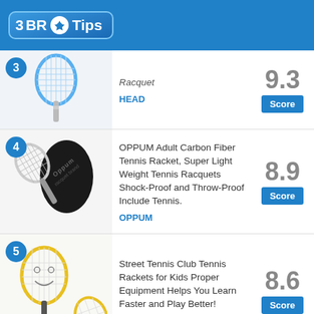3 BR Tips
Racquet
HEAD
Score: 9.3
OPPUM Adult Carbon Fiber Tennis Racket, Super Light Weight Tennis Racquets Shock-Proof and Throw-Proof Include Tennis.
OPPUM
Score: 8.9
Street Tennis Club Tennis Rackets for Kids Proper Equipment Helps You Learn Faster and Play Better!
Street
Score: 8.6
6 (partial)